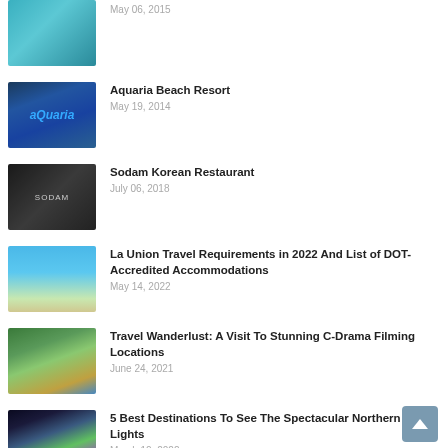May 06, 2015
Aquaria Beach Resort
May 19, 2014
Sodam Korean Restaurant
July 06, 2018
La Union Travel Requirements in 2022 And List of DOT-Accredited Accommodations
May 14, 2022
Travel Wanderlust: A Visit To Stunning C-Drama Filming Locations
June 24, 2021
5 Best Destinations To See The Spectacular Northern Lights
March 10, 2022